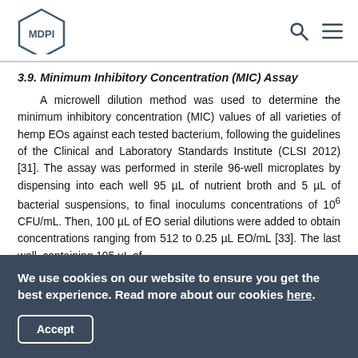MDPI
3.9. Minimum Inhibitory Concentration (MIC) Assay
A microwell dilution method was used to determine the minimum inhibitory concentration (MIC) values of all varieties of hemp EOs against each tested bacterium, following the guidelines of the Clinical and Laboratory Standards Institute (CLSI 2012) [31]. The assay was performed in sterile 96-well microplates by dispensing into each well 95 µL of nutrient broth and 5 µL of bacterial suspensions, to final inoculums concentrations of 106 CFU/mL. Then, 100 µL of EO serial dilutions were added to obtain concentrations ranging from 512 to 0.25 µL EO/mL [33]. The last well, containing 195 µL of
We use cookies on our website to ensure you get the best experience. Read more about our cookies here.
Accept